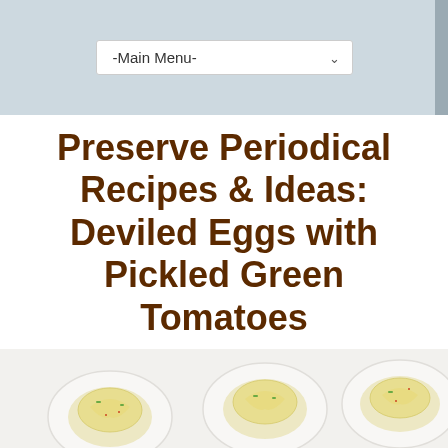-Main Menu-
Preserve Periodical Recipes & Ideas: Deviled Eggs with Pickled Green Tomatoes
[Figure (photo): Photo of deviled eggs arranged on a white platter, viewed from above, with yellow filling piped in and garnished with small green herbs and red spice flakes]